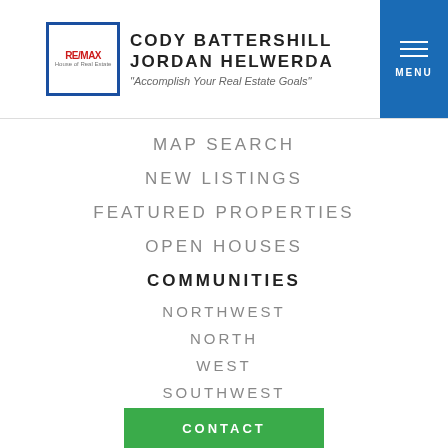[Figure (logo): Cody Battershill Jordan Helwerda RE/MAX logo with tagline 'Accomplish Your Real Estate Goals']
MAP SEARCH
NEW LISTINGS
FEATURED PROPERTIES
OPEN HOUSES
COMMUNITIES
NORTHWEST
NORTH
WEST
SOUTHWEST
SOUTH
SOUTHEAST
CONTACT